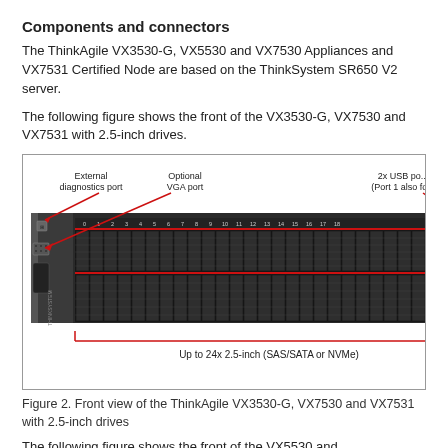Components and connectors
The ThinkAgile VX3530-G, VX5530 and VX7530 Appliances and VX7531 Certified Node are based on the ThinkSystem SR650 V2 server.
The following figure shows the front of the VX3530-G, VX7530 and VX7531 with 2.5-inch drives.
[Figure (engineering-diagram): Front view of a ThinkAgile server appliance (2U rack server) showing drive bays, external diagnostics port, optional VGA port, 2x USB ports (partially cut off), and up to 24x 2.5-inch (SAS/SATA or NVMe) drive bays labeled 0-18+. Red arrows point to components. A bracket at the bottom indicates 'Up to 24x 2.5-inch (SAS/SATA or NVMe)'.]
Figure 2. Front view of the ThinkAgile VX3530-G, VX7530 and VX7531 with 2.5-inch drives
The following figure shows the front of the VX5530 and ...